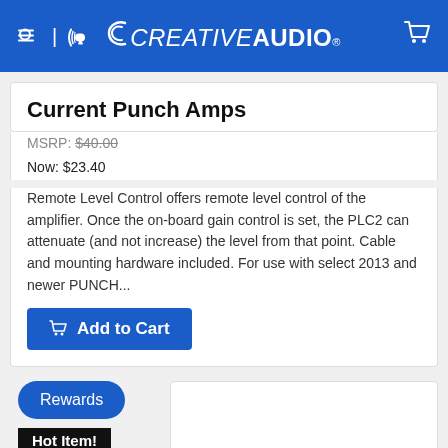CREATIVE AUDIO
Current Punch Amps
MSRP: $40.00
Now: $23.40
Remote Level Control offers remote level control of the amplifier. Once the on-board gain control is set, the PLC2 can attenuate (and not increase) the level from that point. Cable and mounting hardware included. For use with select 2013 and newer PUNCH...
Add to Cart
Rewards
Hot Item!